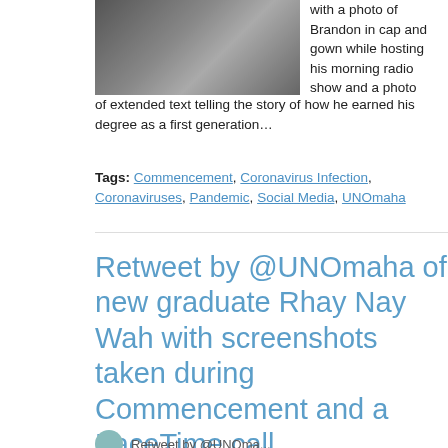[Figure (photo): Photo of Brandon at a radio mixing board, wearing cap and gown]
with a photo of Brandon in cap and gown while hosting his morning radio show and a photo of extended text telling the story of how he earned his degree as a first generation…
Tags: Commencement, Coronavirus Infection, Coronaviruses, Pandemic, Social Media, UNOmaha
Retweet by @UNOmaha of new graduate Rhay Nay Wah with screenshots taken during Commencement and a FaceTime call.